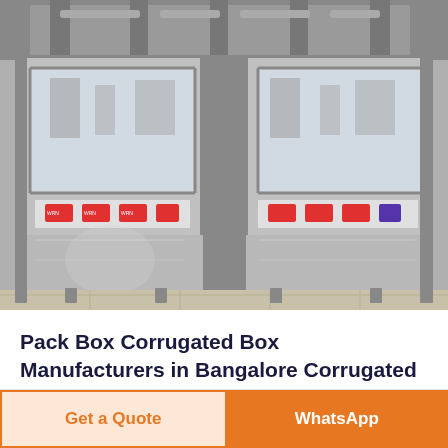[Figure (photo): Industrial packaging/filling machine with stainless steel body, glass panels, control panels with colored buttons (red, blue), situated in a factory floor with tiled flooring.]
Pack Box Corrugated Box Manufacturers in Bangalore Corrugated Box Suppliers Corrugated Cardboard Boxes Cardboard Packaging Boxes
Get a Quote
WhatsApp